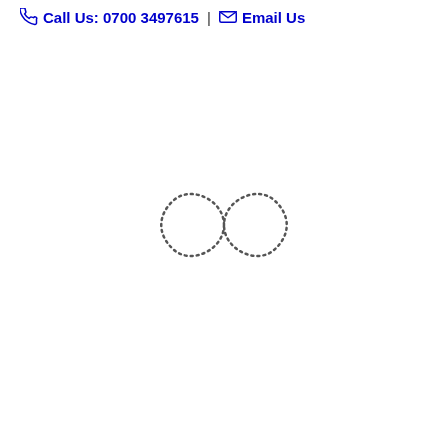Call Us: 0700 3497615 | Email Us
[Figure (illustration): Dotted infinity symbol (figure-eight / lemniscate) drawn with small dots arranged in the outline of an infinity sign, centered on the page.]